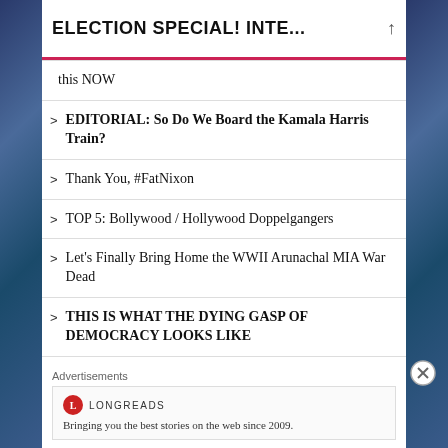ELECTION SPECIAL! INTE...
this NOW
EDITORIAL: So Do We Board the Kamala Harris Train?
Thank You, #FatNixon
TOP 5: Bollywood / Hollywood Doppelgangers
Let's Finally Bring Home the WWII Arunachal MIA War Dead
THIS IS WHAT THE DYING GASP OF DEMOCRACY LOOKS LIKE
WAR BREAKS OUT BETWEEN US & INDIA VS. CHINA & RUSSIA: WHO WOULD WIN?
Advertisements
[Figure (logo): Longreads logo with red circle containing L and text LONGREADS]
Bringing you the best stories on the web since 2009.